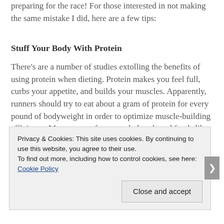preparing for the race! For those interested in not making the same mistake I did, here are a few tips:
Stuff Your Body With Protein
There's are a number of studies extolling the benefits of using protein when dieting. Protein makes you feel full, curbs your appetite, and builds your muscles. Apparently, runners should try to eat about a gram of protein for every pound of bodyweight in order to optimize muscle-building efficiency. Many types of meat and plant-based foods like legumes are rich in
Privacy & Cookies: This site uses cookies. By continuing to use this website, you agree to their use.
To find out more, including how to control cookies, see here: Cookie Policy